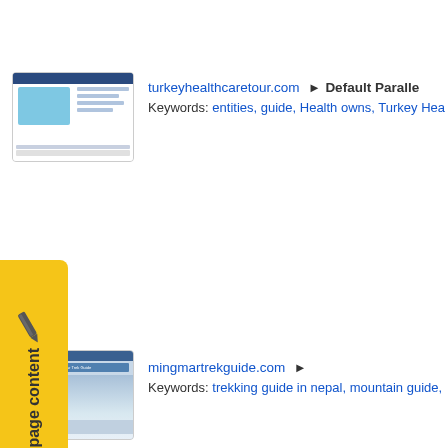[Figure (screenshot): Thumbnail screenshot of turkeyhealthcaretour.com website]
turkeyhealthcaretour.com ► Default Parallel
Keywords: entities, guide, Health owns, Turkey Hea…
[Figure (screenshot): Thumbnail screenshot of mingmartrekguide.com website]
mingmartrekguide.com ►
Keywords: trekking guide in nepal, mountain guide,…
[Figure (screenshot): Thumbnail screenshot of wowguideonline.com website]
wowguideonline.com ►
Keywords: fishing, Warlock, profession guide, Gold…
[Figure (screenshot): Thumbnail screenshot of littlebabebigcity.com website]
littlebabebigcity.com ► Little Babe and the B…
Your city guide to hip baby stores, cool baby produc… listings, stroller friendly restaurant guide. NYC Baby…
[Figure (other): Yellow report page content tab with pencil icon on the left side]